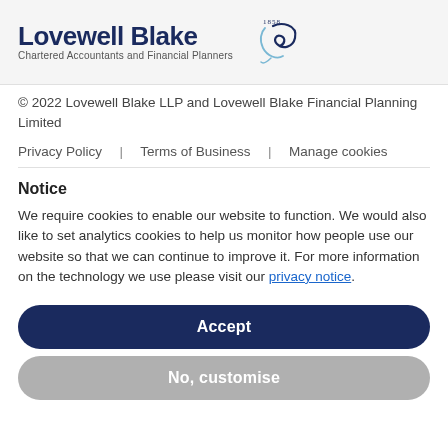[Figure (logo): Lovewell Blake logo with stylized B monogram and cursive script]
© 2022 Lovewell Blake LLP and Lovewell Blake Financial Planning Limited
Privacy Policy  |  Terms of Business  |  Manage cookies
Notice
We require cookies to enable our website to function. We would also like to set analytics cookies to help us monitor how people use our website so that we can continue to improve it. For more information on the technology we use please visit our privacy notice.
Accept
No, customise